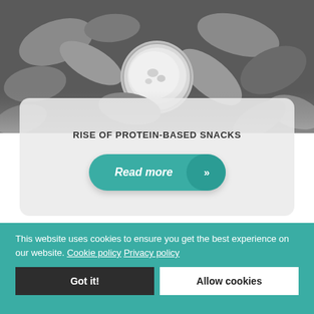[Figure (photo): Grayscale food photo showing protein-based snacks (chicken wings or similar) with a dipping sauce in a small round container, viewed from above on a dark tray]
RISE OF PROTEIN-BASED SNACKS
Read more »
This website uses cookies to ensure you get the best experience on our website. Cookie policy Privacy policy
Got it!
Allow cookies